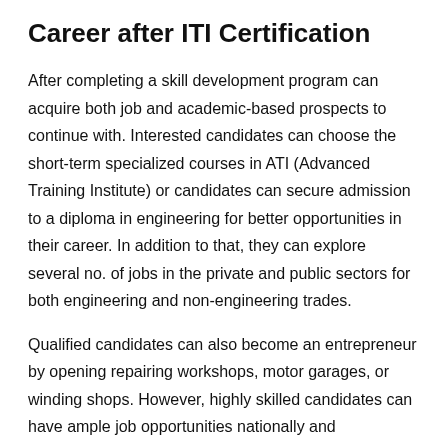Career after ITI Certification
After completing a skill development program can acquire both job and academic-based prospects to continue with. Interested candidates can choose the short-term specialized courses in ATI (Advanced Training Institute) or candidates can secure admission to a diploma in engineering for better opportunities in their career. In addition to that, they can explore several no. of jobs in the private and public sectors for both engineering and non-engineering trades.
Qualified candidates can also become an entrepreneur by opening repairing workshops, motor garages, or winding shops. However, highly skilled candidates can have ample job opportunities nationally and internationally as well.